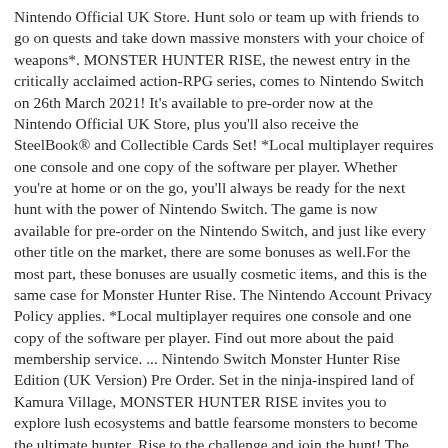Nintendo Official UK Store. Hunt solo or team up with friends to go on quests and take down massive monsters with your choice of weapons*. MONSTER HUNTER RISE, the newest entry in the critically acclaimed action-RPG series, comes to Nintendo Switch on 26th March 2021! It's available to pre-order now at the Nintendo Official UK Store, plus you'll also receive the SteelBook® and Collectible Cards Set! *Local multiplayer requires one console and one copy of the software per player. Whether you're at home or on the go, you'll always be ready for the next hunt with the power of Nintendo Switch. The game is now available for pre-order on the Nintendo Switch, and just like every other title on the market, there are some bonuses as well.For the most part, these bonuses are usually cosmetic items, and this is the same case for Monster Hunter Rise. The Nintendo Account Privacy Policy applies. *Local multiplayer requires one console and one copy of the software per player. Find out more about the paid membership service. ... Nintendo Switch Monster Hunter Rise Edition (UK Version) Pre Order. Set in the ninja-inspired land of Kamura Village, MONSTER HUNTER RISE invites you to explore lush ecosystems and battle fearsome monsters to become the ultimate hunter. Rise to the challenge and join the hunt! The Nintendo Account Privacy Policy applies. Pre-order the game on the Nintendo UK store